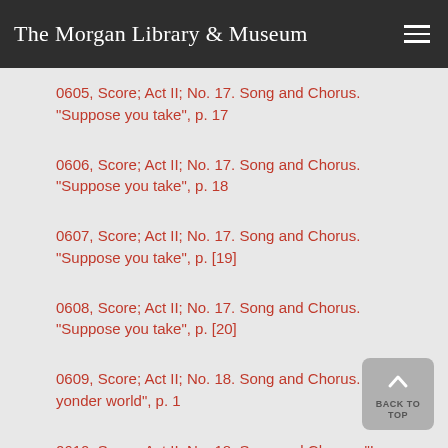The Morgan Library & Museum
0605, Score; Act II; No. 17. Song and Chorus. "Suppose you take", p. 17
0606, Score; Act II; No. 17. Song and Chorus. "Suppose you take", p. 18
0607, Score; Act II; No. 17. Song and Chorus. "Suppose you take", p. [19]
0608, Score; Act II; No. 17. Song and Chorus. "Suppose you take", p. [20]
0609, Score; Act II; No. 18. Song and Chorus. "In yonder world", p. 1
0610, Score; Act II; No. 18. Song and Chorus. "In yonder world", p. 2
0611, Score; Act II; No. 18. Song and Chorus. "In yonder world", p. 3